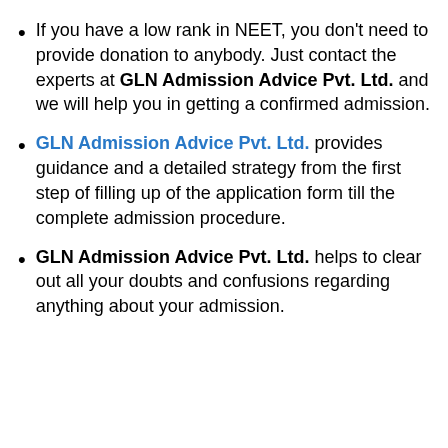If you have a low rank in NEET, you don't need to provide donation to anybody. Just contact the experts at GLN Admission Advice Pvt. Ltd. and we will help you in getting a confirmed admission.
GLN Admission Advice Pvt. Ltd. provides guidance and a detailed strategy from the first step of filling up of the application form till the complete admission procedure.
GLN Admission Advice Pvt. Ltd. helps to clear out all your doubts and confusions regarding anything about your admission.